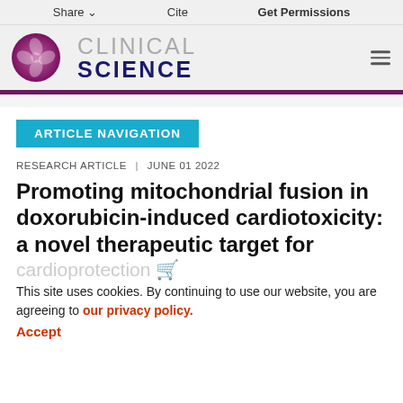Share   Cite   Get Permissions
[Figure (logo): Clinical Science journal logo: purple circular emblem with leaf/cell pattern, next to 'CLINICAL SCIENCE' text in gray and dark navy]
ARTICLE NAVIGATION
RESEARCH ARTICLE | JUNE 01 2022
Promoting mitochondrial fusion in doxorubicin-induced cardiotoxicity: a novel therapeutic target for cardioprotection
This site uses cookies. By continuing to use our website, you are agreeing to our privacy policy. Accept